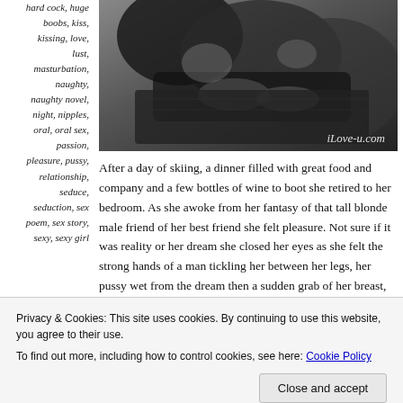hard cock, huge boobs, kiss, kissing, love, lust, masturbation, naughty, naughty novel, night, nipples, oral, oral sex, passion, pleasure, pussy, relationship, seduce, seduction, sex poem, sex story, sexy, sexy girl
[Figure (photo): Black and white intimate photo of two people, with watermark iLove-u.com]
After a day of skiing, a dinner filled with great food and company and a few bottles of wine to boot she retired to her bedroom. As she awoke from her fantasy of that tall blonde male friend of her best friend she felt pleasure. Not sure if it was reality or her dream she closed her eyes as she felt the strong hands of a man tickling her between her legs, her pussy wet from the dream then a sudden grab of her breast, she arches her neck and back and feels the lips of a stranger.
Privacy & Cookies: This site uses cookies. By continuing to use this website, you agree to their use.
To find out more, including how to control cookies, see here: Cookie Policy
Close and accept